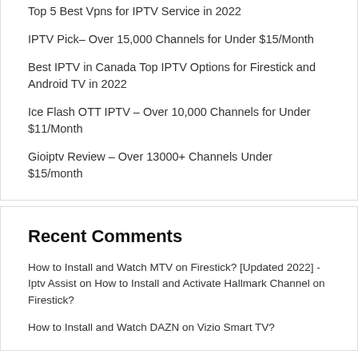Top 5 Best Vpns for IPTV Service in 2022
IPTV Pick– Over 15,000 Channels for Under $15/Month
Best IPTV in Canada Top IPTV Options for Firestick and Android TV in 2022
Ice Flash OTT IPTV – Over 10,000 Channels for Under $11/Month
Gioiptv Review – Over 13000+ Channels Under $15/month
Recent Comments
How to Install and Watch MTV on Firestick? [Updated 2022] - Iptv Assist on How to Install and Activate Hallmark Channel on Firestick?
How to Install and Watch DAZN on Vizio Smart TV?